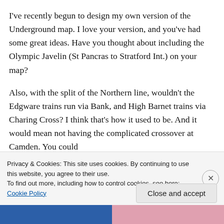I've recently begun to design my own version of the Underground map. I love your version, and you've had some great ideas. Have you thought about including the Olympic Javelin (St Pancras to Stratford Int.) on your map?

Also, with the split of the Northern line, wouldn't the Edgware trains run via Bank, and High Barnet trains via Charing Cross? I think that's how it used to be. And it would mean not having the complicated crossover at Camden. You could
Privacy & Cookies: This site uses cookies. By continuing to use this website, you agree to their use.
To find out more, including how to control cookies, see here: Cookie Policy
Close and accept